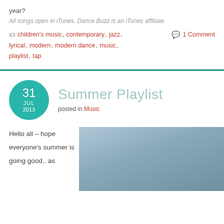year?
All songs open in iTunes. Dance Buzz is an iTunes affiliate.
children's music, contemporary, jazz, lyrical, modern, modern dance, music, playlist, tap
1 Comment
31 JUL 2013
Summer Playlist
posted in Music
Hello all – hope everyone's summer is going good.. as